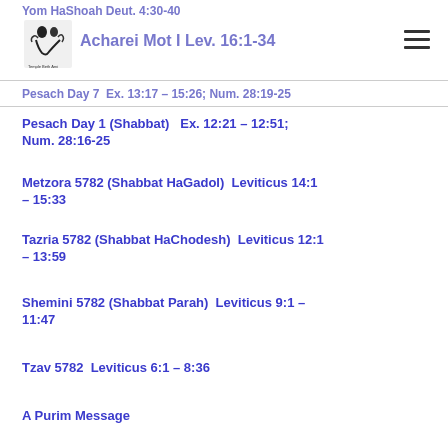Yom HaShoah Deut. 4:30-40
Acharei Mot I Lev. 16:1-34
Pesach Day 7  Ex. 13:17 – 15:26; Num. 28:19-25
Pesach Day 1 (Shabbat)   Ex. 12:21 – 12:51; Num. 28:16-25
Metzora 5782 (Shabbat HaGadol)  Leviticus 14:1 – 15:33
Tazria 5782 (Shabbat HaChodesh)  Leviticus 12:1 – 13:59
Shemini 5782 (Shabbat Parah)  Leviticus 9:1 – 11:47
Tzav 5782  Leviticus 6:1 – 8:36
A Purim Message